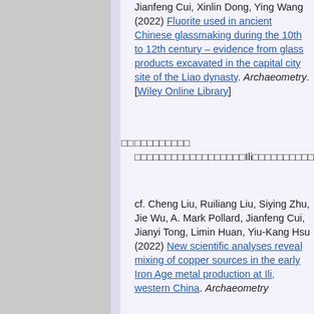Jianfeng Cui, Xinlin Dong, Ying Wang (2022) Fluorite used in ancient Chinese glassmaking during the 10th to 12th century – evidence from glass products excavated in the capital city site of the Liao dynasty. Archaeometry. [Wiley Online Library]
□□ □□□□□□□□□□□□□□□□□□□□□□Ili□□□□□□□□□□□□□□□□44□□□□□□□□□□□□□□□□□□□□□□□□□□□□□□□□□□□□□□□□□□□□□□□□□□□□□□□□□□□□□□□□□□□□□□□□□□□□□□□
cf. Cheng Liu, Ruiliang Liu, Siying Zhu, Jie Wu, A. Mark Pollard, Jianfeng Cui, Jianyi Tong, Limin Huan, Yiu-Kang Hsu (2022) New scientific analyses reveal mixing of copper sources in the early Iron Age metal production at Ili, western China. Archaeometry